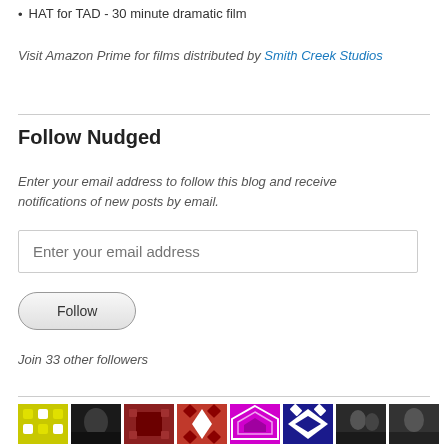HAT for TAD - 30 minute dramatic film
Visit Amazon Prime for films distributed by Smith Creek Studios
Follow Nudged
Enter your email address to follow this blog and receive notifications of new posts by email.
Enter your email address
Follow
Join 33 other followers
[Figure (illustration): Grid of avatar/profile image tiles showing various patterned and photographic thumbnails in two rows]